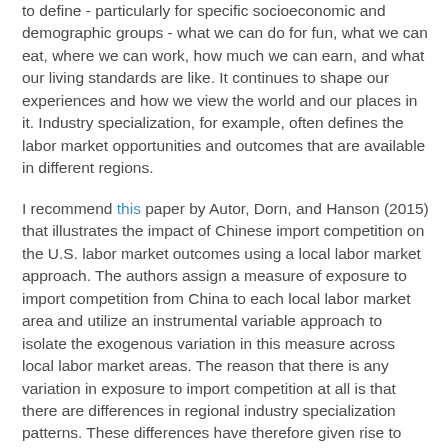to define - particularly for specific socioeconomic and demographic groups - what we can do for fun, what we can eat, where we can work, how much we can earn, and what our living standards are like. It continues to shape our experiences and how we view the world and our places in it. Industry specialization, for example, often defines the labor market opportunities and outcomes that are available in different regions.
I recommend this paper by Autor, Dorn, and Hanson (2015) that illustrates the impact of Chinese import competition on the U.S. labor market outcomes using a local labor market approach. The authors assign a measure of exposure to import competition from China to each local labor market area and utilize an instrumental variable approach to isolate the exogenous variation in this measure across local labor market areas. The reason that there is any variation in exposure to import competition at all is that there are differences in regional industry specialization patterns. These differences have therefore given rise to geographic inequalities within the U.S. whereby regions with import-competing manufacturing were particularly impacted by the